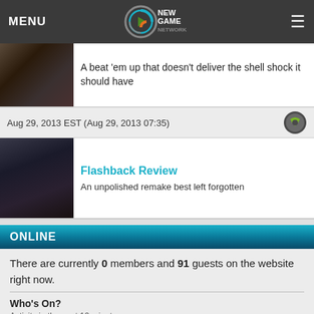MENU | New Game Network | ≡
A beat 'em up that doesn't deliver the shell shock it should have
Aug 29, 2013 EST (Aug 29, 2013 07:35)
Flashback Review
An unpolished remake best left forgotten
ONLINE
There are currently 0 members and 91 guests on the website right now.
Who's On?
Activity in the past 10 minutes:
91 guests
ANTICIPATED
Skull and Bones
November 8, 2022